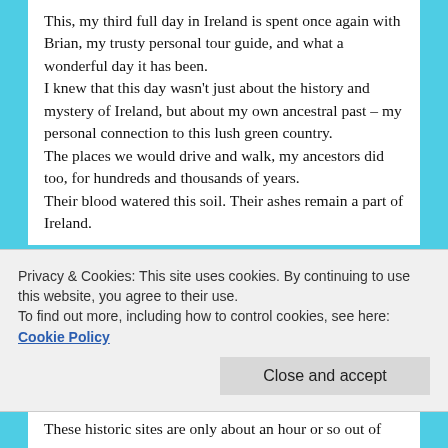This, my third full day in Ireland is spent once again with Brian, my trusty personal tour guide, and what a wonderful day it has been.
I knew that this day wasn't just about the history and mystery of Ireland, but about my own ancestral past – my personal connection to this lush green country.
The places we would drive and walk, my ancestors did too, for hundreds and thousands of years.
Their blood watered this soil. Their ashes remain a part of Ireland.
Privacy & Cookies: This site uses cookies. By continuing to use this website, you agree to their use.
To find out more, including how to control cookies, see here: Cookie Policy
Close and accept
These historic sites are only about an hour or so out of